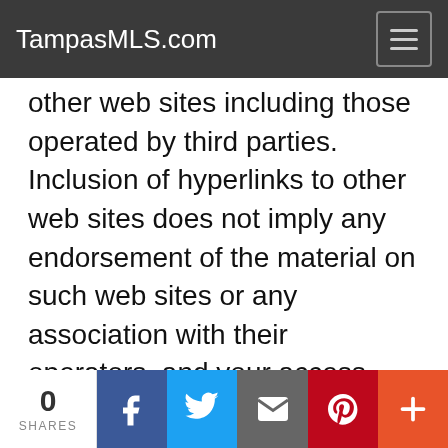TampasMLS.com
other web sites including those operated by third parties. Inclusion of hyperlinks to other web sites does not imply any endorsement of the material on such web sites or any association with their operators, and your access and use such sites, including information, material, products and services therein, solely at your own risk. Furthermore, because the privacy policy on this Web Site is applicable only when you are on this Web Site, once linked to another web site, you
0 SHARES | Facebook | Twitter | Email | Pinterest | More